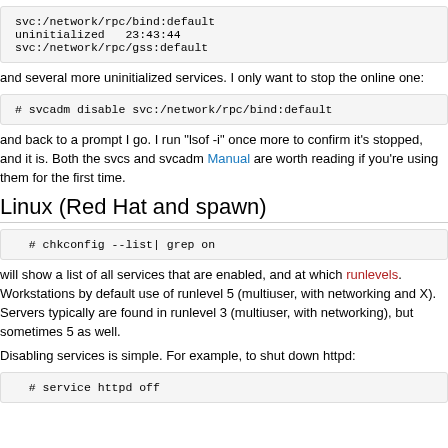[Figure (screenshot): Code block showing: svc:/network/rpc/bind:default  uninitialized   23:43:44  svc:/network/rpc/gss:default]
and several more uninitialized services. I only want to stop the online one:
[Figure (screenshot): Code block: # svcadm disable svc:/network/rpc/bind:default]
and back to a prompt I go. I run "lsof -i" once more to confirm it's stopped, and it is. Both the svcs and svcadm Manual are worth reading if you're using them for the first time.
Linux (Red Hat and spawn)
[Figure (screenshot): Code block: # chkconfig --list| grep on]
will show a list of all services that are enabled, and at which runlevels. Workstations by default use of runlevel 5 (multiuser, with networking and X). Servers typically are found in runlevel 3 (multiuser, with networking), but sometimes 5 as well.
Disabling services is simple. For example, to shut down httpd:
[Figure (screenshot): Code block: # service httpd off]